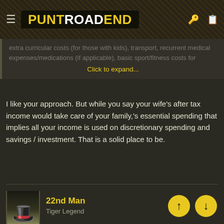[Figure (logo): PuntRoadEnd forum logo with yellow and white text on dark background, with menu icon and header icons]
extra curricular costs (for those with kids), transport, recurrent medical expenses/medications (if applicable), basic sport/fitness costs for
Click to expand...
I like your approach. But while you say your wife's after tax income would take care of your family,'s essential spending that implies all your income is used on discretionary spending and savings / investment. That is a solid place to be.
22nd Man
Tiger Legend
May 5, 2022
#33
Panthera Tigris said:
Fair to say, we go about it in slightly different ways, but I think we come to the same observation. It's a real eye opener.